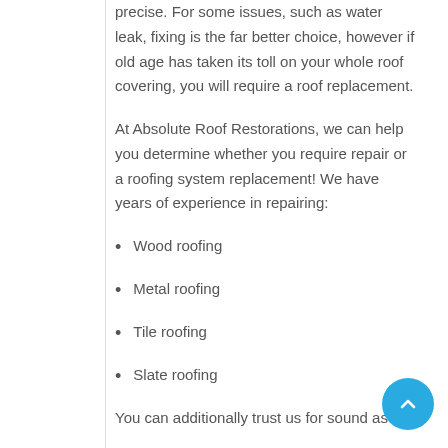precise. For some issues, such as water leak, fixing is the far better choice, however if old age has taken its toll on your whole roof covering, you will require a roof replacement.
At Absolute Roof Restorations, we can help you determine whether you require repair or a roofing system replacement! We have years of experience in repairing:
Wood roofing
Metal roofing
Tile roofing
Slate roofing
You can additionally trust us for sound as